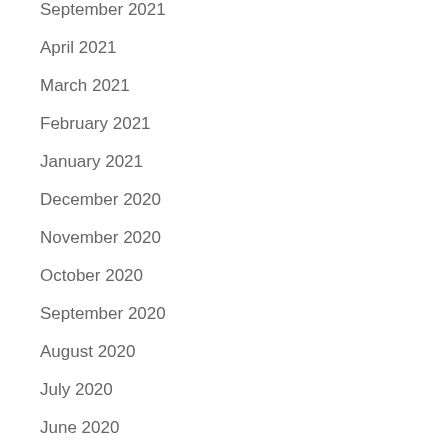September 2021
April 2021
March 2021
February 2021
January 2021
December 2020
November 2020
October 2020
September 2020
August 2020
July 2020
June 2020